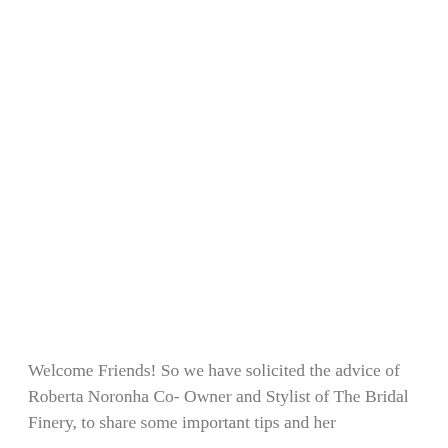Welcome Friends! So we have solicited the advice of Roberta Noronha Co- Owner and Stylist of The Bridal Finery, to share some important tips and her